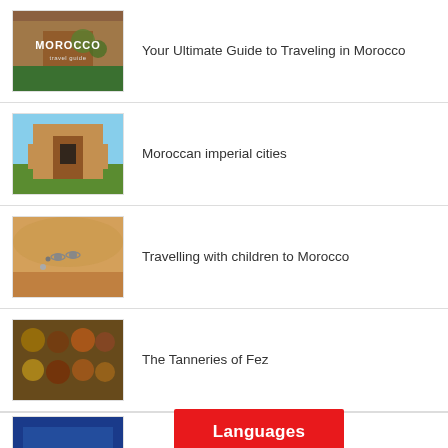Your Ultimate Guide to Traveling in Morocco
Moroccan imperial cities
Travelling with children to Morocco
The Tanneries of Fez
Languages »